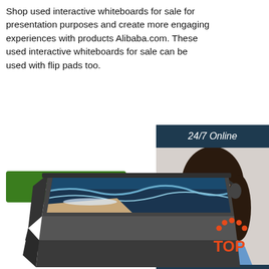Shop used interactive whiteboards for sale for presentation purposes and create more engaging experiences with products Alibaba.com. These used interactive whiteboards for sale can be used with flip pads too.
[Figure (other): Green 'Get Price' button]
[Figure (other): Sidebar with '24/7 Online' header, woman with headset photo, 'Click here for free chat!' text, and orange QUOTATION button]
[Figure (other): Wide-format display monitor showing ocean/beach scene image, shown at angle. Red 'TOP' logo with dots in lower right.]